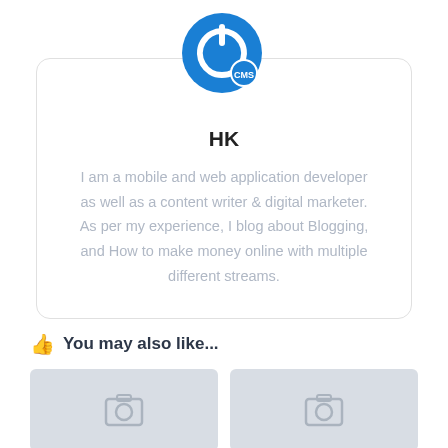[Figure (logo): Blue circular power/on button icon with a smaller blue badge overlay at bottom right]
HK
I am a mobile and web application developer as well as a content writer & digital marketer. As per my experience, I blog about Blogging, and How to make money online with multiple different streams.
You may also like...
[Figure (photo): Placeholder image thumbnail with camera icon]
[Figure (photo): Placeholder image thumbnail with camera icon]